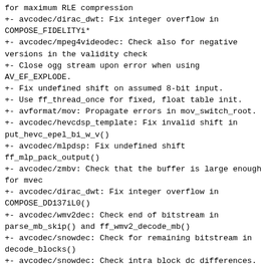for maximum RLE compression
+- avcodec/dirac_dwt: Fix integer overflow in COMPOSE_FIDELITYi*
+- avcodec/mpeg4videodec: Check also for negative versions in the validity check
+- Close ogg stream upon error when using AV_EF_EXPLODE.
+- Fix undefined shift on assumed 8-bit input.
+- Use ff_thread_once for fixed, float table init.
+- avformat/mov: Propagate errors in mov_switch_root.
+- avcodec/hevcdsp_template: Fix invalid shift in put_hevc_epel_bi_w_v()
+- avcodec/mlpdsp: Fix undefined shift ff_mlp_pack_output()
+- avcodec/zmbv: Check that the buffer is large enough for mvec
+- avcodec/dirac_dwt: Fix integer overflow in COMPOSE_DD137iL0()
+- avcodec/wmv2dec: Check end of bitstream in parse_mb_skip() and ff_wmv2_decode_mb()
+- avcodec/snowdec: Check for remaining bitstream in decode_blocks()
+- avcodec/snowdec: Check intra block dc differences.
+- avformat/mov: Check size of STSC allocation
+- avcodec/vc2enc: Clear coef_buf on allocation
+- avcodec/h264dec: Fix potential array overread
+- avcodec/x86/mpegvideodsp: Fix signedness bug in need_emu
+- avcodec/aacpsdsp_template: Fix integer overflows in ps_decorrelate_c()